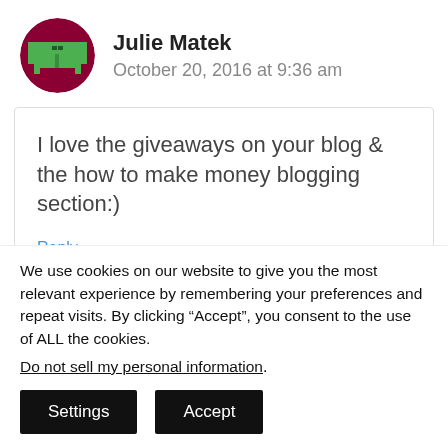[Figure (illustration): Circular avatar with dark red/maroon background and a pixelated green couch/sofa icon in the center]
Julie Matek
October 20, 2016 at 9:36 am
I love the giveaways on your blog & the how to make money blogging section:)
Reply
We use cookies on our website to give you the most relevant experience by remembering your preferences and repeat visits. By clicking “Accept”, you consent to the use of ALL the cookies.
Do not sell my personal information.
Settings
Accept